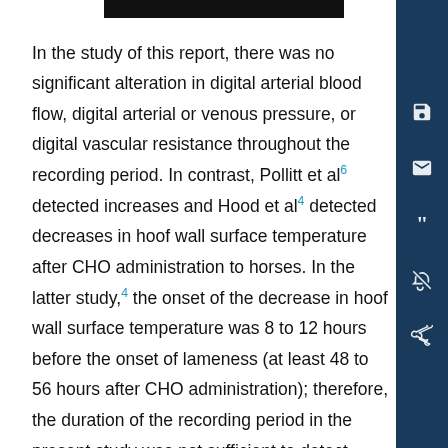In the study of this report, there was no significant alteration in digital arterial blood flow, digital arterial or venous pressure, or digital vascular resistance throughout the recording period. In contrast, Pollitt et al⁶ detected increases and Hood et al⁴ detected decreases in hoof wall surface temperature after CHO administration to horses. In the latter study,⁴ the onset of the decrease in hoof wall surface temperature was 8 to 12 hours before the onset of lameness (at least 48 to 56 hours after CHO administration); therefore, the duration of the recording period in the present study was not sufficient to detect similar changes in blood flow. In the former study,¹ the increased hoof wall surface temperature was detected 12 to 16 hours after CHO administration.